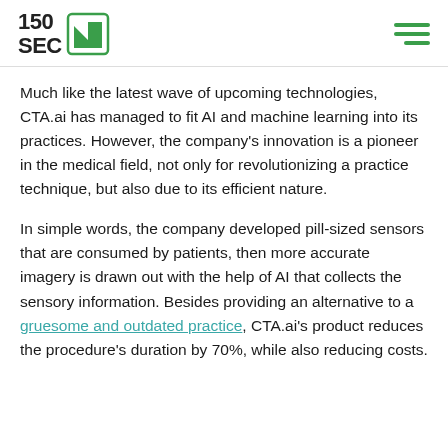150SEC
Much like the latest wave of upcoming technologies, CTA.ai has managed to fit AI and machine learning into its practices. However, the company's innovation is a pioneer in the medical field, not only for revolutionizing a practice technique, but also due to its efficient nature.
In simple words, the company developed pill-sized sensors that are consumed by patients, then more accurate imagery is drawn out with the help of AI that collects the sensory information. Besides providing an alternative to a gruesome and outdated practice, CTA.ai's product reduces the procedure's duration by 70%, while also reducing costs.